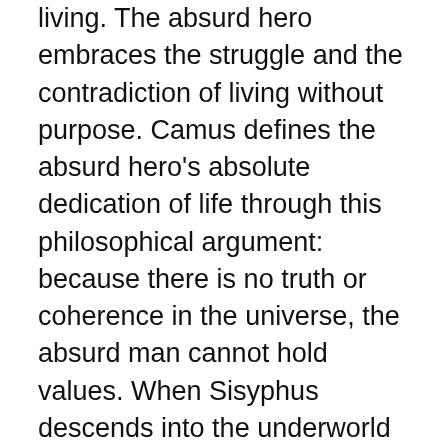living. The absurd hero embraces the struggle and the contradiction of living without purpose. Camus defines the absurd hero's absolute dedication of life through this philosophical argument: because there is no truth or coherence in the universe, the absurd man cannot hold values. When Sisyphus descends into the underworld and faces his eternal torture, he begins to feel the absurdity of pushing the rock up the mountain with the same, inevitable end. Upon reaching the top of the mountain, Sisyphus becomes conscious of the absurdity of his task. The decision he faces now concerns a metaphorical suicide. Within his mind, he can choose to continue his absurd revolt in joy or sorrow. If Sisyphus abandons himself to the absurdity, he would face his task in sorrow and it would be metaphorical suicide. If Sisyphus surrenders to sorrow, he will be admitting that the suffering in life without purpose makes life not worth living.